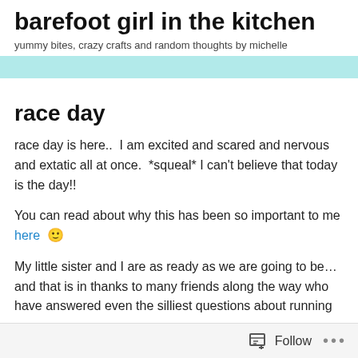barefoot girl in the kitchen
yummy bites, crazy crafts and random thoughts by michelle
race day
race day is here..  I am excited and scared and nervous and extatic all at once.  *squeal* I can't believe that today is the day!!
You can read about why this has been so important to me here 🙂
My little sister and I are as ready as we are going to be… and that is in thanks to many friends along the way who have answered even the silliest questions about running
Follow ...